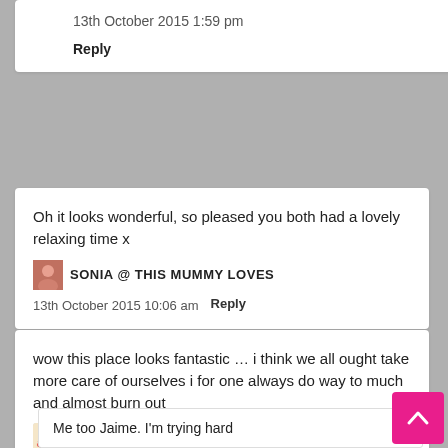13th October 2015 1:59 pm
Reply
Oh it looks wonderful, so pleased you both had a lovely relaxing time x
SONIA @ THIS MUMMY LOVES
13th October 2015 10:06 am
Reply
wow this place looks fantastic … i think we all ought take more care of ourselves i for one always do way to much and almost burn out
JAIME OLIVER
Reply
13th October 2015 7:33 pm
Me too Jaime. I'm trying hard